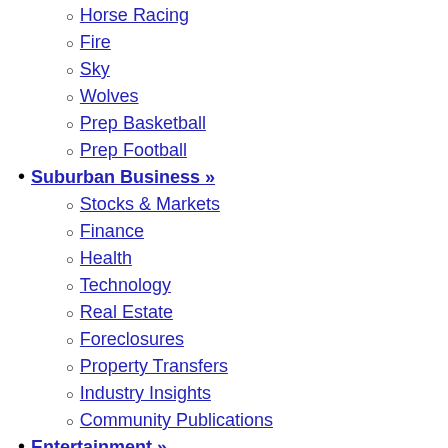Horse Racing
Fire
Sky
Wolves
Prep Basketball
Prep Football
Suburban Business »
Stocks & Markets
Finance
Health
Technology
Real Estate
Foreclosures
Property Transfers
Industry Insights
Community Publications
Entertainment »
Celebrities
Movies
Dining
Literature
Music
Television
Theater
Events Calendar